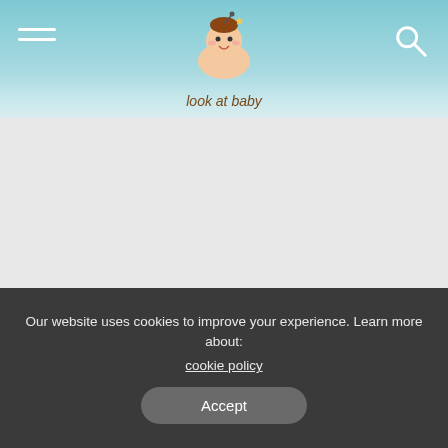[Figure (logo): Look at Baby website logo with cartoon baby illustration and text 'look at baby']
[Figure (other): Gray advertisement placeholder area]
TAGS: # Baby Health # Newborn
What's your reaction?
Our website uses cookies to improve your experience. Learn more about: cookie policy
Accept